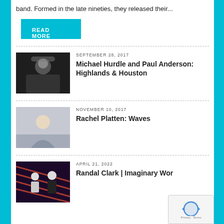band. Formed in the late nineties, they released their...
READ MORE
SEPTEMBER 28, 2017
Michael Hurdle and Paul Anderson: Highlands & Houston
NOVEMBER 10, 2017
Rachel Platten: Waves
APRIL 21, 2022
Randal Clark | Imaginary World R